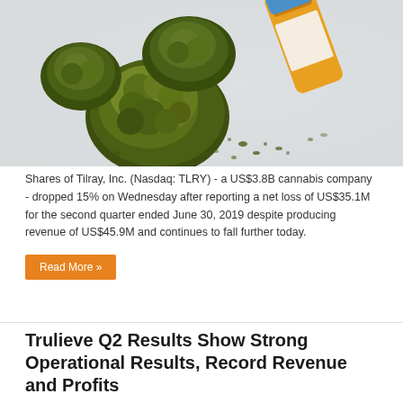[Figure (photo): Photo of cannabis buds/flowers scattered on a white surface next to an orange prescription pill bottle tipped on its side]
Shares of Tilray, Inc. (Nasdaq: TLRY) - a US$3.8B cannabis company - dropped 15% on Wednesday after reporting a net loss of US$35.1M for the second quarter ended June 30, 2019 despite producing revenue of US$45.9M and continues to fall further today.
Read More »
Trulieve Q2 Results Show Strong Operational Results, Record Revenue and Profits
August 4, 2019